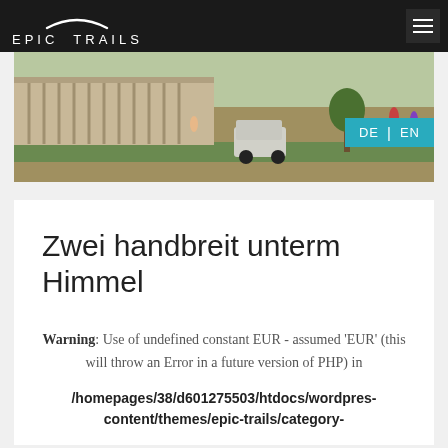EPIC TRAILS
[Figure (photo): Street scene with cars, pedestrians and a colonnaded building in a Central Asian city]
Zwei handbreit unterm Himmel
Warning: Use of undefined constant EUR - assumed 'EUR' (this will throw an Error in a future version of PHP) in /homepages/38/d601275503/htdocs/wordpres- content/themes/epic-trails/category-